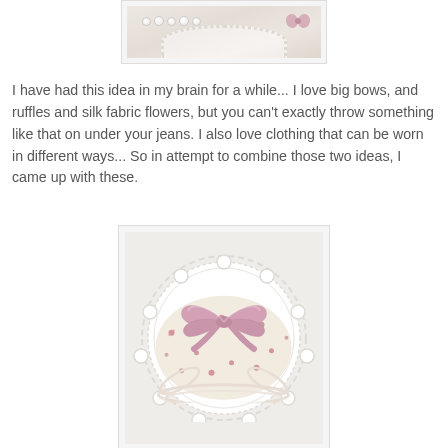[Figure (photo): Top portion of a photo showing floral fabric items with pearl necklace and pink bow on white lace doily background]
I have had this idea in my brain for a while... I love big bows, and ruffles and silk fabric flowers, but you can't exactly throw something like that on under your jeans. I also love clothing that can be worn in different ways... So in attempt to combine those two ideas, I came up with these.
[Figure (photo): Floral fabric bloomers/underwear with a large pink satin bow on top, displayed on a white scalloped lace doily]